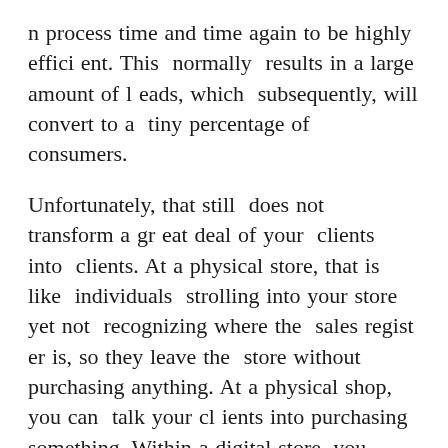n process time and time again to be highly efficient. This normally results in a large amount of leads, which subsequently, will convert to a tiny percentage of consumers.
Unfortunately, that still does not transform a great deal of your clients into clients. At a physical store, that is like individuals strolling into your store yet not recognizing where the sales register is, so they leave the store without purchasing anything. At a physical shop, you can talk your clients into purchasing something. Within a digital store, you could be a bit farther from the customers. That's where your channel is available in — it is created to attract your consumers' through basics of psychology. The channel features incremental, attract visitors in closer as well as closer till people end up in a web page.